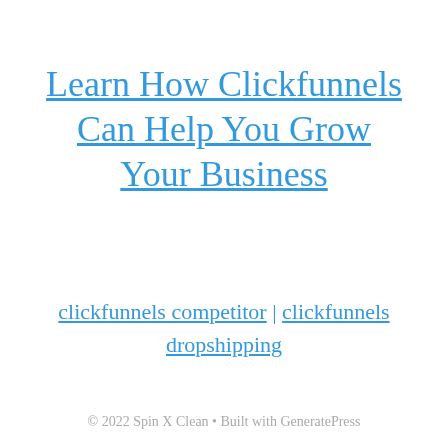Learn How Clickfunnels Can Help You Grow Your Business
clickfunnels competitor | clickfunnels dropshipping
© 2022 Spin X Clean • Built with GeneratePress